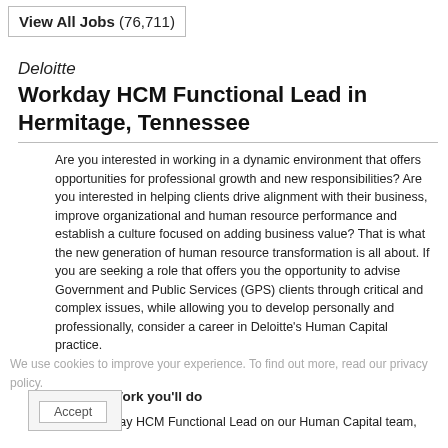View All Jobs (76,711)
Deloitte
Workday HCM Functional Lead in Hermitage, Tennessee
Are you interested in working in a dynamic environment that offers opportunities for professional growth and new responsibilities? Are you interested in helping clients drive alignment with their business, improve organizational and human resource performance and establish a culture focused on adding business value? That is what the new generation of human resource transformation is all about. If you are seeking a role that offers you the opportunity to advise Government and Public Services (GPS) clients through critical and complex issues, while allowing you to develop personally and professionally, consider a career in Deloitte's Human Capital practice.
Work you'll do
As a Workday HCM Functional Lead on our Human Capital team,